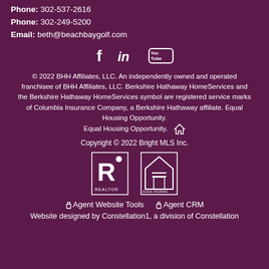Phone: 302-537-2616
Phone: 302-249-5200
Email: beth@beachbaygolf.com
[Figure (infographic): Social media icons: Facebook, LinkedIn, YouTube]
© 2022 BHH Affiliates, LLC. An independently owned and operated franchisee of BHH Affiliates, LLC. Berkshire Hathaway HomeServices and the Berkshire Hathaway HomeServices symbol are registered service marks of Columbia Insurance Company, a Berkshire Hathaway affiliate. Equal Housing Opportunity. Equal Housing Opportunity.
Copyright © 2022 Bright MLS Inc.
[Figure (logo): REALTOR logo and Equal Housing Opportunity logo]
Agent Website Tools   Agent CRM
Website designed by Constellation1, a division of Constellation